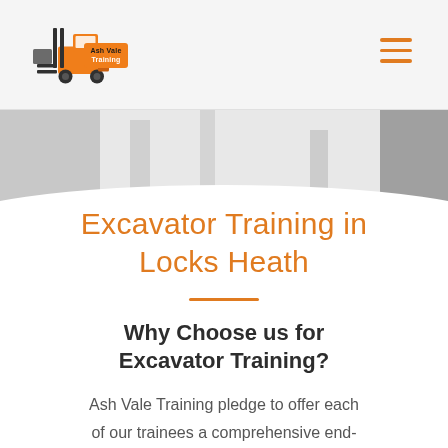Ash Vale Training
[Figure (photo): Partial hero image showing a person in white protective gear, cropped at the top]
Excavator Training in Locks Heath
Why Choose us for Excavator Training?
Ash Vale Training pledge to offer each of our trainees a comprehensive end-to-end service. All candidates will be